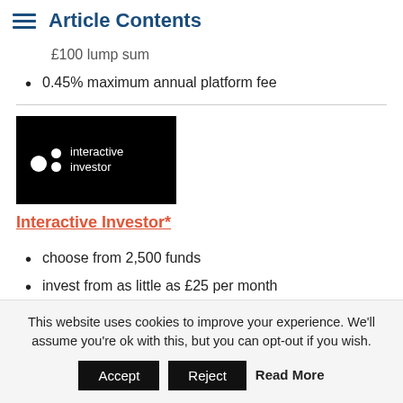Article Contents
£100 lump sum
0.45% maximum annual platform fee
[Figure (logo): Interactive Investor logo — black background with white 'ii' icon and text 'interactive investor']
Interactive Investor*
choose from 2,500 funds
invest from as little as £25 per month
No additional charge for Junior ISA if
This website uses cookies to improve your experience. We'll assume you're ok with this, but you can opt-out if you wish.